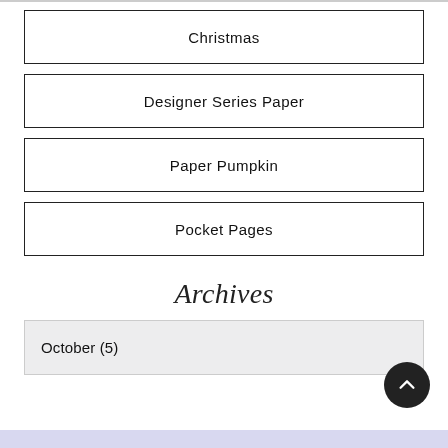Christmas
Designer Series Paper
Paper Pumpkin
Pocket Pages
Archives
October (5)